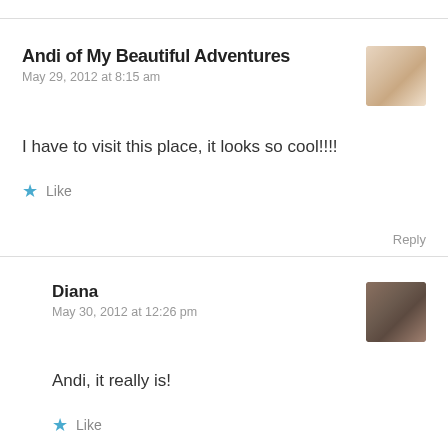Andi of My Beautiful Adventures
May 29, 2012 at 8:15 am
I have to visit this place, it looks so cool!!!!
★ Like
Reply
Diana
May 30, 2012 at 12:26 pm
Andi, it really is!
★ Like
Reply